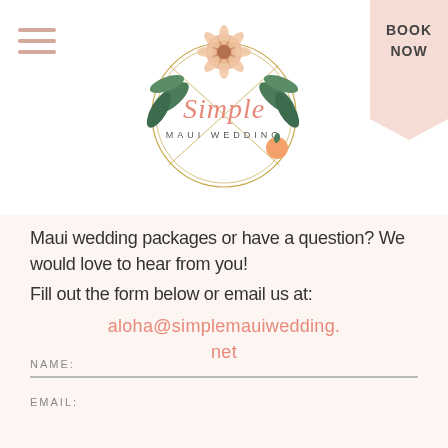[Figure (logo): Simple Maui Wedding logo - circular gold geometric frame with tropical flowers and script text reading 'Simple Maui Wedding']
BOOK NOW
Maui wedding packages or have a question? We would love to hear from you! Fill out the form below or email us at:
aloha@simplemauiwedding.net
NAME:
EMAIL: